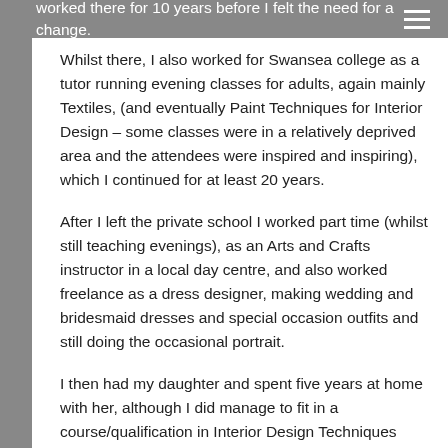worked there for 10 years before I felt the need for a change.
Whilst there, I also worked for Swansea college as a tutor running evening classes for adults, again mainly Textiles, (and eventually Paint Techniques for Interior Design – some classes were in a relatively deprived area and the attendees were inspired and inspiring), which I continued for at least 20 years.
After I left the private school I worked part time (whilst still teaching evenings), as an Arts and Crafts instructor in a local day centre, and also worked freelance as a dress designer, making wedding and bridesmaid dresses and special occasion outfits and still doing the occasional portrait.
I then had my daughter and spent five years at home with her, although I did manage to fit in a course/qualification in Interior Design Techniques when she started nursery at 3 (and a few years later taught that to adults in evening and afternoon classes) and working from home as a freelance Textile Designer. Once she started full time, I also volunteered at my daughter's school, taking groups of 5-6 year olds for Arts and Crafts. This eventually led to part time work in the school as a one to one T.A. with a young boy with behavioural